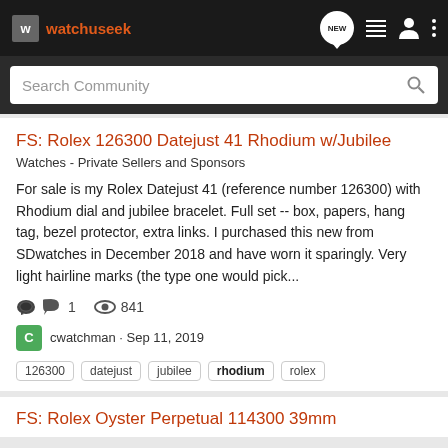watchuseek — navigation bar with search
FS: Rolex 126300 Datejust 41 Rhodium w/Jubilee
Watches - Private Sellers and Sponsors
For sale is my Rolex Datejust 41 (reference number 126300) with Rhodium dial and jubilee bracelet. Full set -- box, papers, hang tag, bezel protector, extra links. I purchased this new from SDwatches in December 2018 and have worn it sparingly. Very light hairline marks (the type one would pick...
1   841
cwatchman · Sep 11, 2019
126300
datejust
jubilee
rhodium
rolex
FS: Rolex Oyster Perpetual 114300 39mm